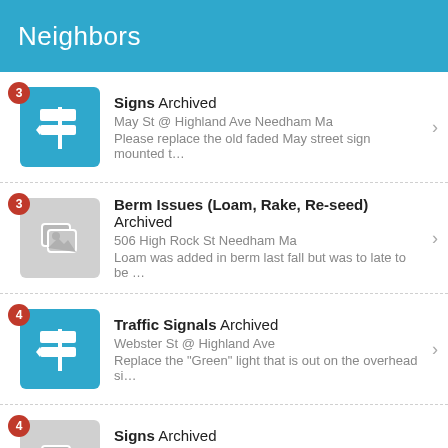Neighbors
Signs Archived
May St @ Highland Ave Needham Ma
Please replace the old faded May street sign mounted t…
Berm Issues (Loam, Rake, Re-seed) Archived
506 High Rock St Needham Ma
Loam was added in berm last fall but was to late to be …
Traffic Signals Archived
Webster St @ Highland Ave
Replace the "Green" light that is out on the overhead si…
Signs Archived
1-21 Dell Avenue Needham, MA
Please replace the missing "No Parking" sign on Dell A…